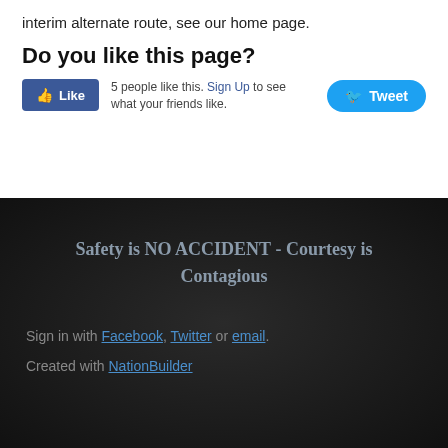interim alternate route, see our home page.
Do you like this page?
5 people like this. Sign Up to see what your friends like.
Safety is NO ACCIDENT - Courtesy is Contagious
Sign in with Facebook, Twitter or email.
Created with NationBuilder